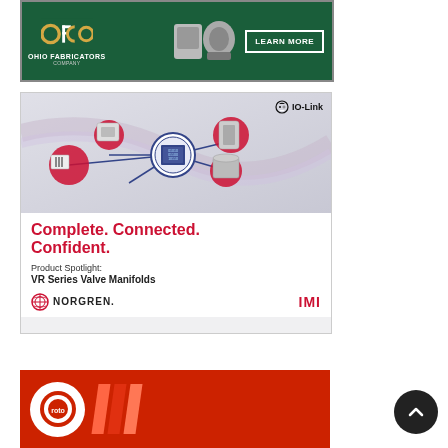[Figure (advertisement): OFCO Ohio Fabricators Company advertisement with logo and Learn More button, featuring industrial equipment]
[Figure (advertisement): Norgren IMI advertisement featuring IO-Link connected pneumatic devices diagram. Text: Complete. Connected. Confident. Product Spotlight: VR Series Valve Manifolds. Norgren and IMI logos.]
[Figure (advertisement): Roto advertisement (partial) with red background and logo]